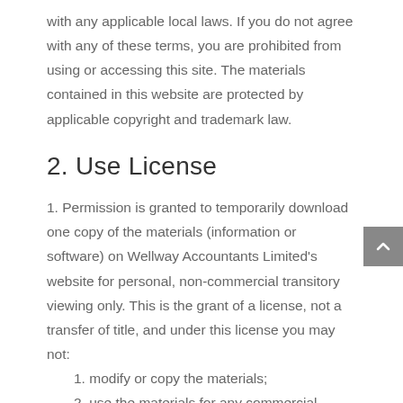with any applicable local laws. If you do not agree with any of these terms, you are prohibited from using or accessing this site. The materials contained in this website are protected by applicable copyright and trademark law.
2. Use License
1. Permission is granted to temporarily download one copy of the materials (information or software) on Wellway Accountants Limited’s website for personal, non-commercial transitory viewing only. This is the grant of a license, not a transfer of title, and under this license you may not:
1. modify or copy the materials;
2. use the materials for any commercial purpose, or for any public display (commercial or non-commercial);